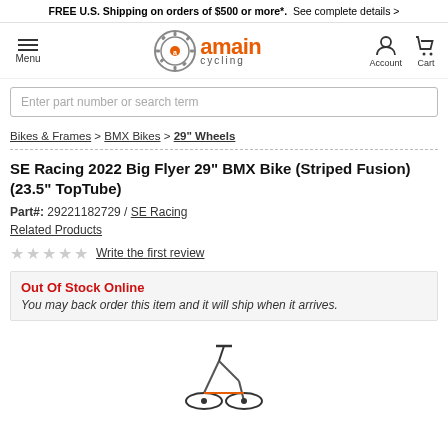FREE U.S. Shipping on orders of $99 or more*. See complete details >
[Figure (logo): AMain Cycling logo with gear icon and orange 'amain' text, 'cycling' subtitle]
Enter part number or search term
Bikes & Frames > BMX Bikes > 29" Wheels
SE Racing 2022 Big Flyer 29" BMX Bike (Striped Fusion) (23.5" TopTube)
Part#: 29221182729 / SE Racing
Related Products
Write the first review
Out Of Stock Online
You may back order this item and it will ship when it arrives.
[Figure (photo): Partial view of a BMX bike, bottom portion visible]